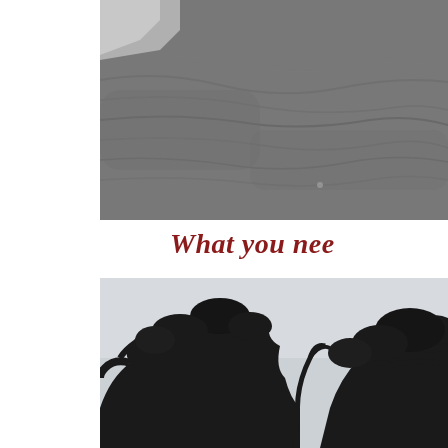[Figure (photo): Aerial or ground-level photo of fast-moving turbulent floodwater or swollen river, with a concrete embankment or wall visible at the top-left corner. The water is grey-brown and appears to be in motion with ripples and waves across the surface.]
What you nee
[Figure (photo): Photo of dark silhouetted trees (appearing to be tropical or subtropical trees with dense canopies) against a pale overcast grey sky, suggesting stormy or overcast weather conditions.]